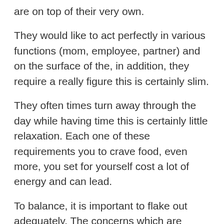are on top of their very own.
They would like to act perfectly in various functions (mom, employee, partner) and on the surface of the, in addition, they require a really figure this is certainly slim.
They often times turn away through the day while having time this is certainly little relaxation. Each one of these requirements you to crave food, even more, you set for yourself cost a lot of energy and can lead.
To balance, it is important to flake out adequately. The concerns which are following permit you to use this type of:
Precisely what are you wanting from yourself?
Which activities set you back energy and offer you